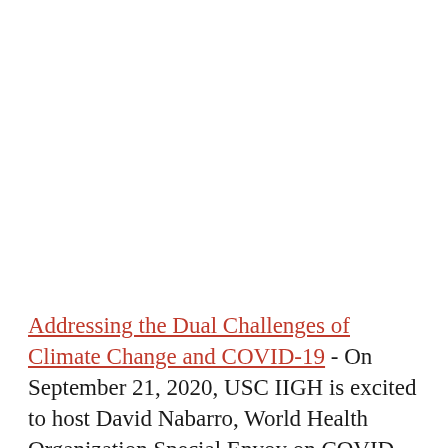Addressing the Dual Challenges of Climate Change and COVID-19 - On September 21, 2020, USC IIGH is excited to host David Nabarro, World Health Organization Special Envoy on COVID-19, for a talk